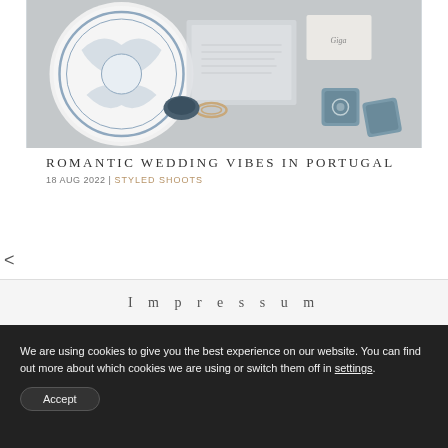[Figure (photo): Flat lay wedding details photo showing a decorative blue and white china plate, semi-transparent vellum envelope with calligraphy, a small handwritten name card, and two teal/blue velvet ring boxes with rings.]
ROMANTIC WEDDING VIBES IN PORTUGAL
18 AUG 2022 | STYLED SHOOTS
<
Impressum
We are using cookies to give you the best experience on our website. You can find out more about which cookies we are using or switch them off in settings.
Accept